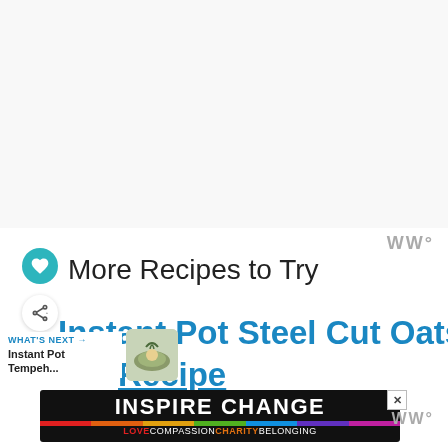[Figure (other): Blank white/light gray area at top of page]
More Recipes to Try
Instant Pot Steel Cut Oats Basics and Recipe
WHAT'S NEXT → Instant Pot Tempeh...
[Figure (photo): Small thumbnail image of a dish with herbs/greens]
[Figure (other): Advertisement banner: INSPIRE CHANGE / LOVE COMPASSION CHARITY BELONGING in rainbow colors]